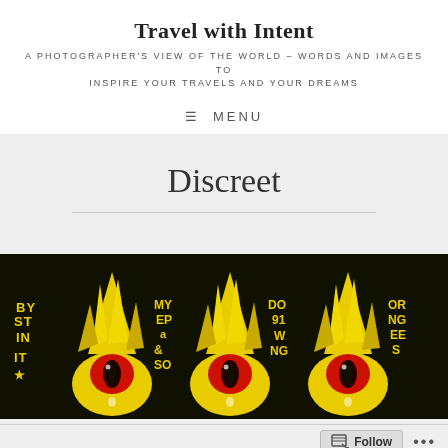Travel with Intent
A PHOTOGRAPHER'S VIEW OF THE WORLD – WORDS AND IMAGES TO INSPIRE YOUR TRAVELS AND YOUR DREAMS
≡ MENU
Discreet
[Figure (photo): Street art painting on black background featuring yellow flame-like creature shapes with red circular eyes, accompanied by text fragments: 'By St In It', 'My Ep a So', 'Do 91 W Ng', 'Or Ng Ee S']
Follow ...